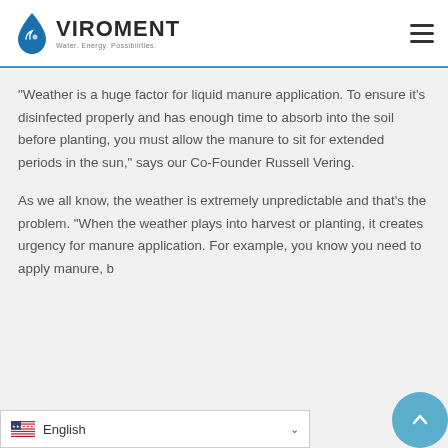VIROMENT — Water. Energy. Possibilities.
“Weather is a huge factor for liquid manure application. To ensure it’s disinfected properly and has enough time to absorb into the soil before planting, you must allow the manure to sit for extended periods in the sun,” says our Co-Founder Russell Vering.
As we all know, the weather is extremely unpredictable and that’s the problem. “When the weather plays into harvest or planting, it creates urgency for manure application. For example, you know you need to apply manure, b…
English